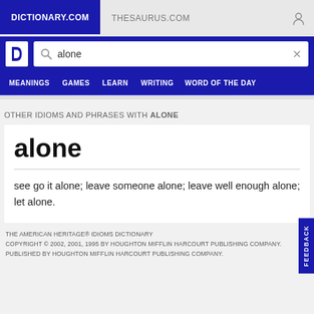DICTIONARY.COM   THESAURUS.COM
[Figure (screenshot): Dictionary.com logo with white D letter on blue background]
alone (search field)
OTHER IDIOMS AND PHRASES WITH ALONE
alone
see go it alone; leave someone alone; leave well enough alone; let alone.
THE AMERICAN HERITAGE® IDIOMS DICTIONARY COPYRIGHT © 2002, 2001, 1995 BY HOUGHTON MIFFLIN HARCOURT PUBLISHING COMPANY. PUBLISHED BY HOUGHTON MIFFLIN HARCOURT PUBLISHING COMPANY.